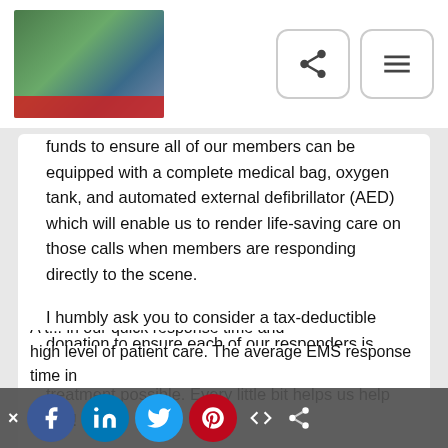[Figure (photo): Group photo of team members in white shirts in front of an ambulance or emergency vehicle, used as organization logo/banner in the nav bar]
funds to ensure all of our members can be equipped with a complete medical bag, oxygen tank, and automated external defibrillator (AED) which will enable us to render life-saving care on those calls when members are responding directly to the scene.
I humbly ask you to consider a tax-deductible donation to ensure each of our responders is equipped to provide the highest level of treatment possible. Every little bit helps us help you!
Thank you in advance for your generosity, your friendship, and your support!
A t... in our quick response time and high level of patient care. The average EMS response time in